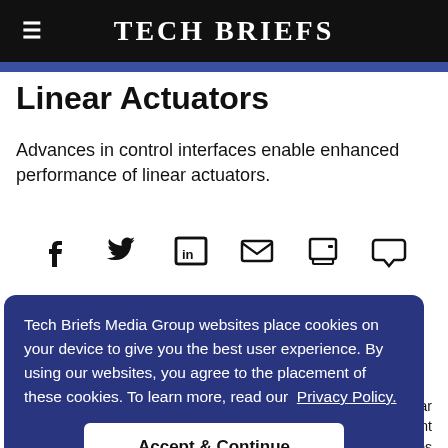≡ TECH BRIEFS
Linear Actuators
Advances in control interfaces enable enhanced performance of linear actuators.
[Figure (infographic): Row of six social sharing icons: Facebook, Twitter, LinkedIn, Email, Print, Comment]
Tech Briefs Media Group websites place cookies on your device to give you the best user experience. By using our websites, you agree to the placement of these cookies. To learn more, read our Privacy Policy.
Accept & Continue
ar ipment enges urers